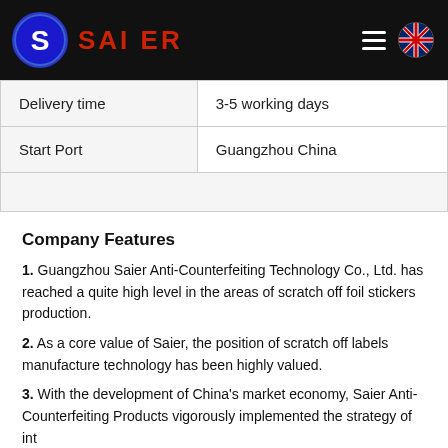SAI ER
|  |  |
| --- | --- |
| Delivery time | 3-5 working days |
| Start Port | Guangzhou China |
|  |  |
Company Features
1. Guangzhou Saier Anti-Counterfeiting Technology Co., Ltd. has reached a quite high level in the areas of scratch off foil stickers production.
2. As a core value of Saier, the position of scratch off labels manufacture technology has been highly valued.
3. With the development of China's market economy, Saier Anti-Counterfeiting Products vigorously implemented the strategy of internationalization and diversification. Welcome to visit our factory! Saier's ambition is to lead the